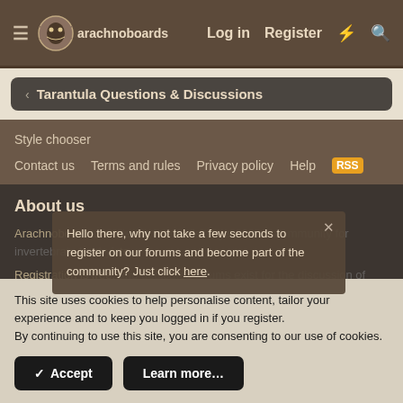arachnoboards — Log in  Register
Tarantula Questions & Discussions
Style chooser
Contact us  Terms and rules  Privacy policy  Help
About us
Arachnoboards.com is the internet's largest forum community for invertebrate hobbyis...
Registration is free, and dedicated forums exist for the discussion of Tarantulas, True Spiders, Centipedes & Scorpions. We also have
Hello there, why not take a few seconds to register on our forums and become part of the community? Just click here.
This site uses cookies to help personalise content, tailor your experience and to keep you logged in if you register.
By continuing to use this site, you are consenting to our use of cookies.
✓ Accept  Learn more...